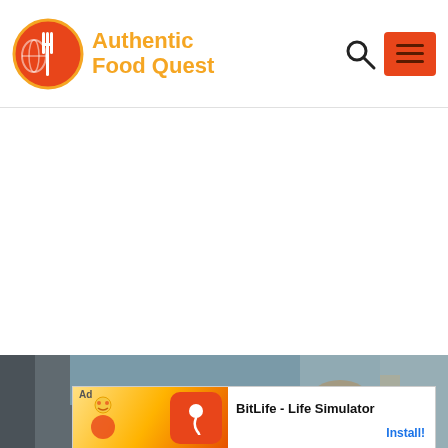[Figure (logo): Authentic Food Quest logo with orange globe/fork icon and orange text]
[Figure (screenshot): Partially visible food photography at bottom of page]
[Figure (screenshot): BitLife - Life Simulator advertisement banner at bottom of page]